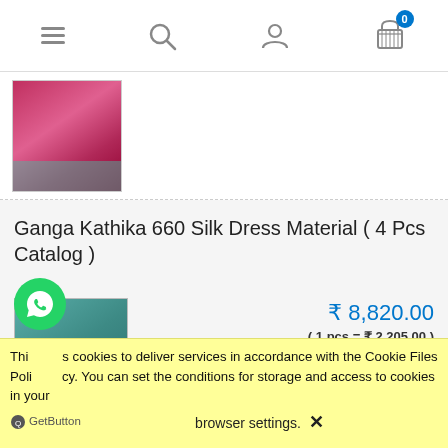Navigation header with menu, search, user, and cart icons (0 items)
[Figure (photo): Thumbnail photo of a pink/red Indian dress outfit]
Ganga Kathika 660 Silk Dress Material ( 4 Pcs Catalog )
[Figure (photo): Product image of woman in teal/green Indian silk dress suit with floral print]
₹ 8,820.00
( 1 pcs = ₹ 2,205.00 )
excl. 5% TAX, excl. shipping costs
order now
This uses cookies to deliver services in accordance with the Cookie Files Policy. You can set the conditions for storage and access to cookies in your browser settings. ✕
GetButton